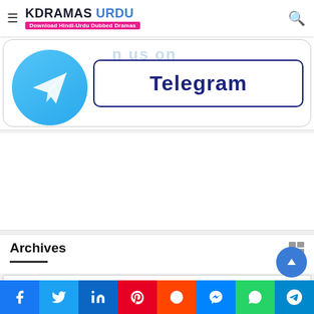KDRAMAS URDU — Download Hindi-Urdu Dubbed Dramas
[Figure (screenshot): Telegram channel promotional banner with Telegram logo and 'Telegram' button, text 'Join us on']
[Figure (other): Empty white advertisement/content section]
Archives
Select Month
Share buttons: Facebook, Twitter, LinkedIn, Pinterest, Reddit, Messenger, WhatsApp, Telegram